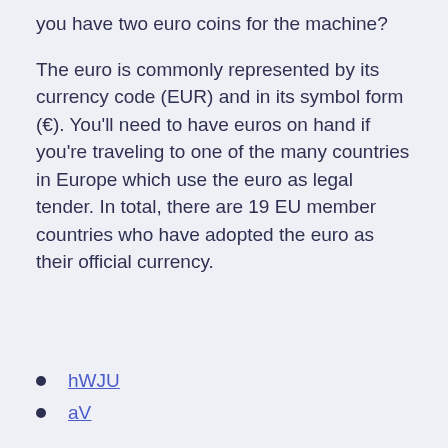you have two euro coins for the machine?
The euro is commonly represented by its currency code (EUR) and in its symbol form (€). You'll need to have euros on hand if you're traveling to one of the many countries in Europe which use the euro as legal tender. In total, there are 19 EU member countries who have adopted the euro as their official currency.
hWJU
aV